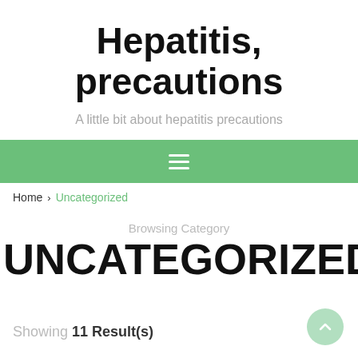Hepatitis, precautions
A little bit about hepatitis precautions
Navigation menu bar
Home › Uncategorized
Browsing Category
UNCATEGORIZED
Showing 11 Result(s)